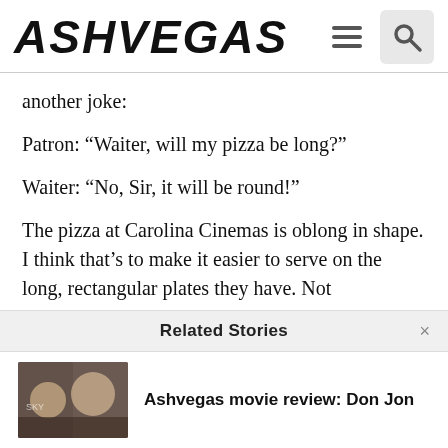ASHVEGAS
another joke:
Patron: “Waiter, will my pizza be long?”
Waiter: “No, Sir, it will be round!”
The pizza at Carolina Cinemas is oblong in shape. I think that’s to make it easier to serve on the long, rectangular plates they have. Not
Related Stories
Ashvegas movie review: Don Jon